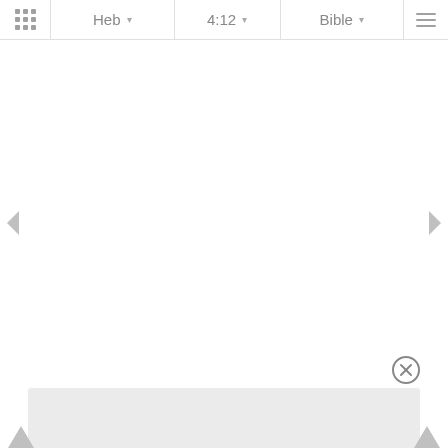Heb 4:12 Bible — navigation bar with grid icon, book selector (Heb), verse selector (4:12), translation selector (Bible), and menu icon
[Figure (screenshot): Bible app interface showing navigation bar with Heb 4:12 Bible selectors, left and right navigation arrows, a close (X) button, and a bottom panel (light gray) with upward triangle navigation arrows at the bottom corners]